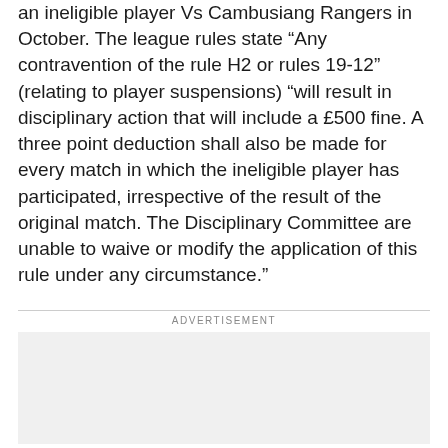an ineligible player Vs Cambusiang Rangers in October. The league rules state “Any contravention of the rule H2 or rules 19-12” (relating to player suspensions) “will result in disciplinary action that will include a £500 fine. A three point deduction shall also be made for every match in which the ineligible player has participated, irrespective of the result of the original match. The Disciplinary Committee are unable to waive or modify the application of this rule under any circumstance.”
ADVERTISEMENT
[Figure (other): Advertisement placeholder box (grey background)]